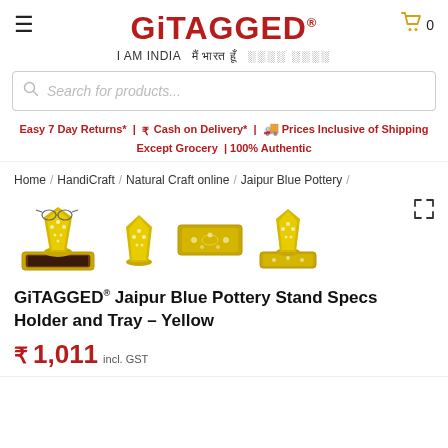GiTAGGED® | I AM INDIA मैं भारत हूँ | Cart 0
Search for products...
Easy 7 Day Returns* | ₹ Cash on Delivery* | 🚚 Prices Inclusive of Shipping Except Grocery | 100% Authentic
Home / HandiCraft / Natural Craft online / Jaipur Blue Pottery /
[Figure (photo): Four product images of GiTAGGED Jaipur Blue Pottery Stand Specs Holder and Tray in Yellow color, showing the item from different angles]
GiTAGGED® Jaipur Blue Pottery Stand Specs Holder and Tray – Yellow
₹ 1,011 incl. GST